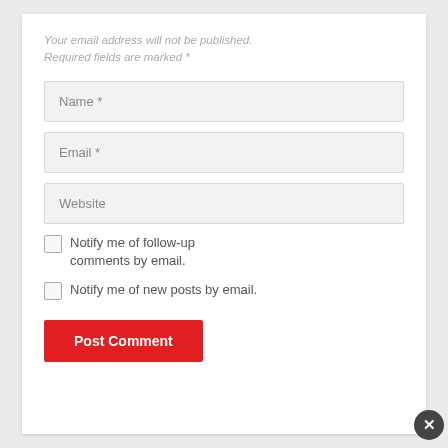Your email address will not be published. Required fields are marked *
Name *
Email *
Website
Notify me of follow-up comments by email.
Notify me of new posts by email.
Post Comment